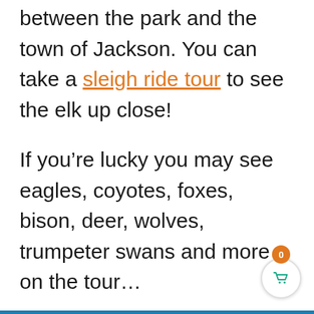between the park and the town of Jackson. You can take a sleigh ride tour to see the elk up close!
If you’re lucky you may see eagles, coyotes, foxes, bison, deer, wolves, trumpeter swans and more on the tour…
as well as on the roads or trails that are open in the park.